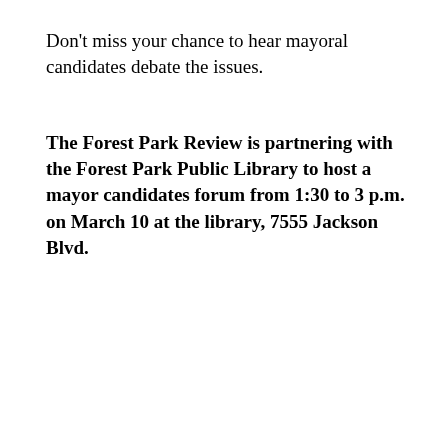Don't miss your chance to hear mayoral candidates debate the issues.
The Forest Park Review is partnering with the Forest Park Public Library to host a mayor candidates forum from 1:30 to 3 p.m. on March 10 at the library, 7555 Jackson Blvd.